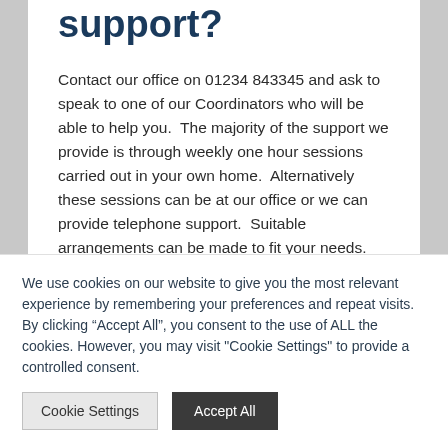support?
Contact our office on 01234 843345 and ask to speak to one of our Coordinators who will be able to help you.  The majority of the support we provide is through weekly one hour sessions carried out in your own home.  Alternatively these sessions can be at our office or we can provide telephone support.  Suitable arrangements can be made to fit your needs.
We use cookies on our website to give you the most relevant experience by remembering your preferences and repeat visits. By clicking “Accept All”, you consent to the use of ALL the cookies. However, you may visit "Cookie Settings" to provide a controlled consent.